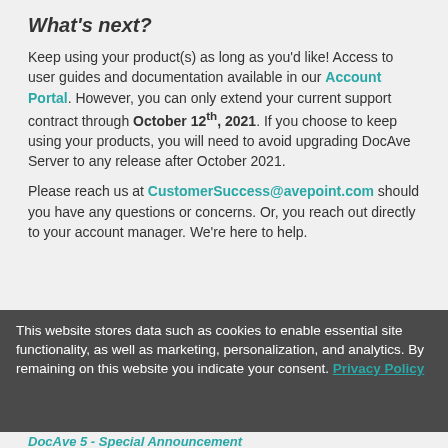What's next?
Keep using your product(s) as long as you'd like! Access to user guides and documentation available in our Account Portal. However, you can only extend your current support contract through October 12th, 2021. If you choose to keep using your products, you will need to avoid upgrading DocAve Server to any release after October 2021.
Please reach us at CustomerSuccess@avepoint.com should you have any questions or concerns. Or, you reach out directly to your account manager. We're here to help.
This website stores data such as cookies to enable essential site functionality, as well as marketing, personalization, and analytics. By remaining on this website you indicate your consent. Privacy Policy
DocAve 5 - Special Announcement